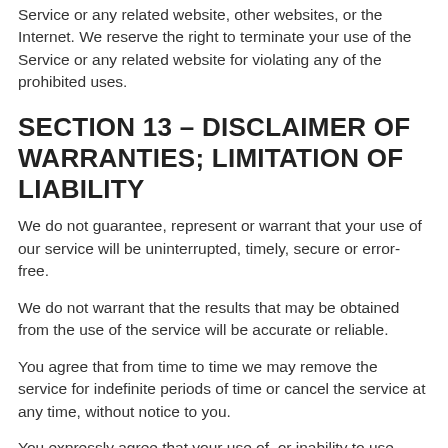Service or any related website, other websites, or the Internet. We reserve the right to terminate your use of the Service or any related website for violating any of the prohibited uses.
SECTION 13 – DISCLAIMER OF WARRANTIES; LIMITATION OF LIABILITY
We do not guarantee, represent or warrant that your use of our service will be uninterrupted, timely, secure or error-free.
We do not warrant that the results that may be obtained from the use of the service will be accurate or reliable.
You agree that from time to time we may remove the service for indefinite periods of time or cancel the service at any time, without notice to you.
You expressly agree that your use of, or inability to use,